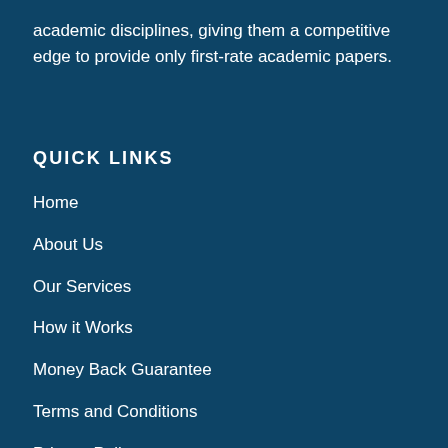academic disciplines, giving them a competitive edge to provide only first-rate academic papers.
QUICK LINKS
Home
About Us
Our Services
How it Works
Money Back Guarantee
Terms and Conditions
Privacy Policy